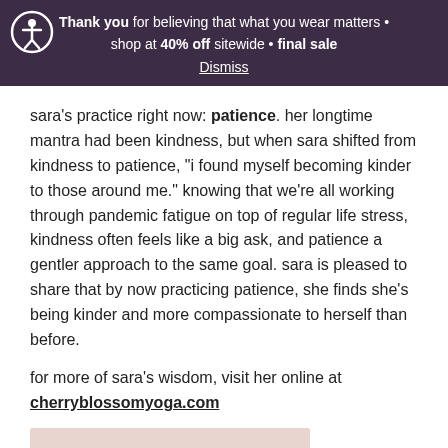Thank you for believing that what you wear matters • shop at 40% off sitewide • final sale
Dismiss
sara's practice right now: patience. her longtime mantra had been kindness, but when sara shifted from kindness to patience, "i found myself becoming kinder to those around me." knowing that we're all working through pandemic fatigue on top of regular life stress, kindness often feels like a big ask, and patience a gentler approach to the same goal. sara is pleased to share that by now practicing patience, she finds she's being kinder and more compassionate to herself than before.
for more of sara's wisdom, visit her online at cherryblossomyoga.com
[Figure (photo): Bottom portion of a photo showing a person with dark hair against a light pinkish-beige background]